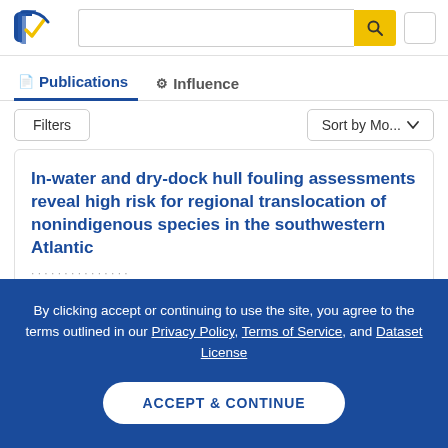[Figure (logo): Semantic Scholar logo — dark blue and gold swoosh with checkmark]
Search bar with magnifying glass button
Publications | Influence (tabs)
Filters | Sort by Mo...
In-water and dry-dock hull fouling assessments reveal high risk for regional translocation of nonindigenous species in the southwestern Atlantic
By clicking accept or continuing to use the site, you agree to the terms outlined in our Privacy Policy, Terms of Service, and Dataset License
ACCEPT & CONTINUE